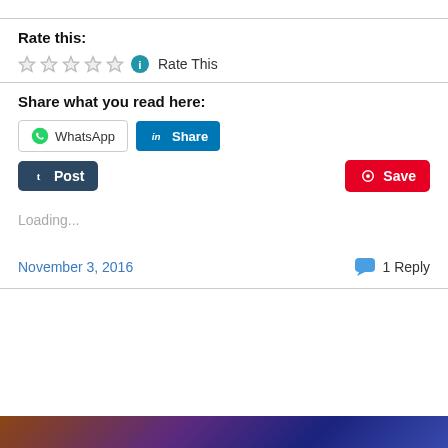Rate this:
[Figure (other): Five empty star rating icons followed by a blue info icon and the text 'Rate This']
Share what you read here:
[Figure (other): Social share buttons: WhatsApp, LinkedIn Share, Tumblr Post, Pinterest Save]
Loading...
November 3, 2016
1 Reply
[Figure (photo): Colorful image strip at the bottom of the page]